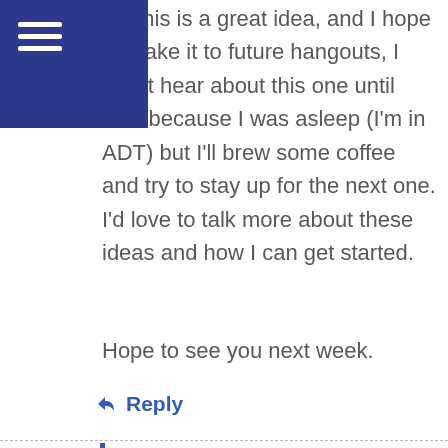[Figure (other): Blue navigation bar with hamburger menu icon in top-left corner]
ink this is a great idea, and I hope to make it to future hangouts, I didn't hear about this one until now because I was asleep (I'm in ADT) but I'll brew some coffee and try to stay up for the next one. I'd love to talk more about these ideas and how I can get started.
Hope to see you next week.
Reply
August 14, 2014 at 10:48 am
nosnhojn says:
matt, this is great. maybe I was wrong when I